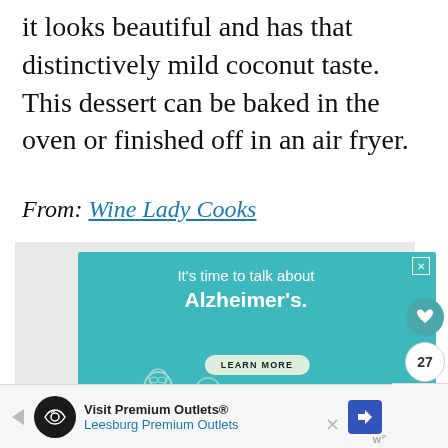it looks beautiful and has that distinctively mild coconut taste. This dessert can be baked in the oven or finished off in an air fryer.
From: Wine Lady Cooks
[Figure (infographic): Alzheimer's Association advertisement with teal background. Text reads: It's time to talk about Alzheimer's. LEARN MORE button. alz.org/ourstories URL. Illustration of two people. Ad badge with alzheimer's association logo.]
[Figure (infographic): Heart/like button (teal circle with heart icon), count showing 27, share button (teal circle with share icon) on the right side.]
[Figure (infographic): Bottom banner ad: Visit Premium Outlets® Leesburg Premium Outlets with logo icon and arrow icon.]